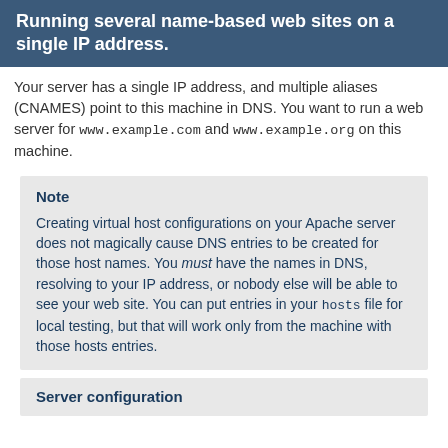Running several name-based web sites on a single IP address.
Your server has a single IP address, and multiple aliases (CNAMES) point to this machine in DNS. You want to run a web server for www.example.com and www.example.org on this machine.
Note
Creating virtual host configurations on your Apache server does not magically cause DNS entries to be created for those host names. You must have the names in DNS, resolving to your IP address, or nobody else will be able to see your web site. You can put entries in your hosts file for local testing, but that will work only from the machine with those hosts entries.
Server configuration